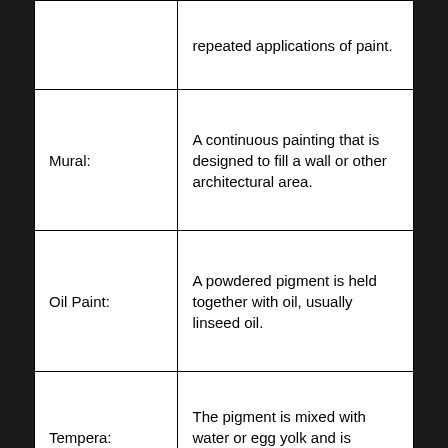| Term | Definition |
| --- | --- |
|  | repeated applications of paint. |
| Mural: | A continuous painting that is designed to fill a wall or other architectural area. |
| Oil Paint: | A powdered pigment is held together with oil, usually linseed oil. |
| Tempera: | The pigment is mixed with water or egg yolk and is usually |